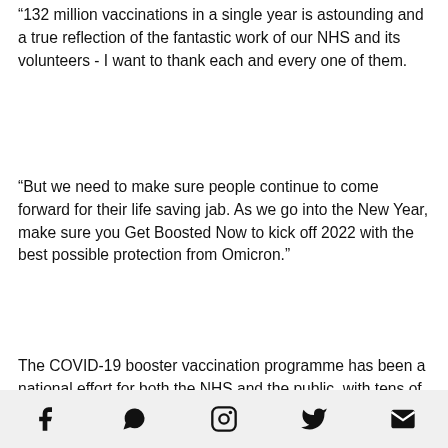“132 million vaccinations in a single year is astounding and a true reflection of the fantastic work of our NHS and its volunteers - I want to thank each and every one of them.
“But we need to make sure people continue to come forward for their life saving jab. As we go into the New Year, make sure you Get Boosted Now to kick off 2022 with the best possible protection from Omicron.”
The COVID-19 booster vaccination programme has been a national effort for both the NHS and the public, with tens of thousands of volunteers stepping up to support NHS staff and millions of people queuing up to secure the protection for themselves and others.
On 30 November, the government set the ambition to offer all eligible adults the chance to get their top-up jab by the end of January. This target was brought forward by the Prime
Social share icons: Facebook, WhatsApp, Instagram, Twitter, Email